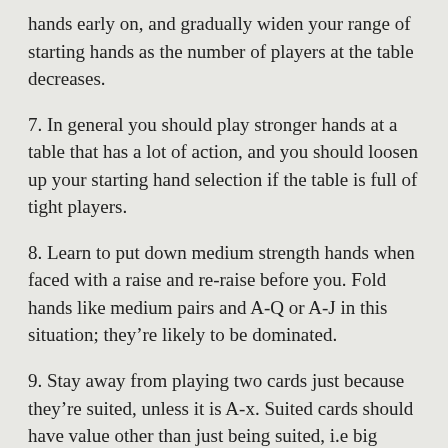hands early on, and gradually widen your range of starting hands as the number of players at the table decreases.
7. In general you should play stronger hands at a table that has a lot of action, and you should loosen up your starting hand selection if the table is full of tight players.
8. Learn to put down medium strength hands when faced with a raise and re-raise before you. Fold hands like medium pairs and A-Q or A-J in this situation; they're likely to be dominated.
9. Stay away from playing two cards just because they're suited, unless it is A-x. Suited cards should have value other than just being suited, i.e big cards or connectors.